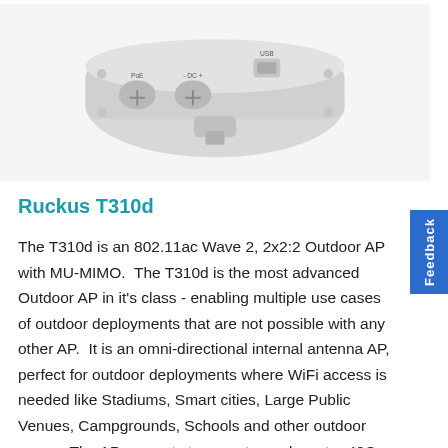[Figure (photo): Photo of Ruckus T310d outdoor access point hardware, showing grey weatherproof enclosure with PoE, DC+, and USB ports visible, viewed from below and at an angle.]
Ruckus T310d
The T310d is an 802.11ac Wave 2, 2x2:2 Outdoor AP with MU-MIMO.  The T310d is the most advanced Outdoor AP in it's class - enabling multiple use cases of outdoor deployments that are not possible with any other AP.  It is an omni-directional internal antenna AP, perfect for outdoor deployments where WiFi access is needed like Stadiums, Smart cities, Large Public Venues, Campgrounds, Schools and other outdoor areas.  The AP supports temperatures down to -40C, making it a good fit for extreme weather deployments where WiFi is still critical.